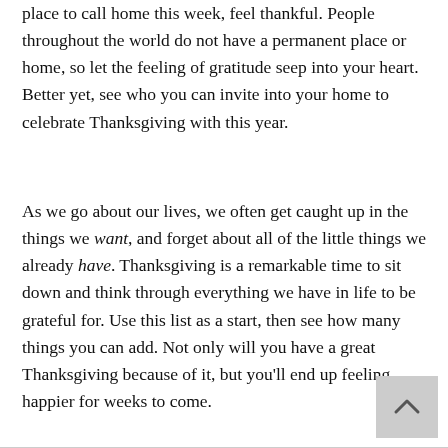place to call home this week, feel thankful. People throughout the world do not have a permanent place or home, so let the feeling of gratitude seep into your heart. Better yet, see who you can invite into your home to celebrate Thanksgiving with this year.
As we go about our lives, we often get caught up in the things we want, and forget about all of the little things we already have. Thanksgiving is a remarkable time to sit down and think through everything we have in life to be grateful for. Use this list as a start, then see how many things you can add. Not only will you have a great Thanksgiving because of it, but you'll end up feeling happier for weeks to come.